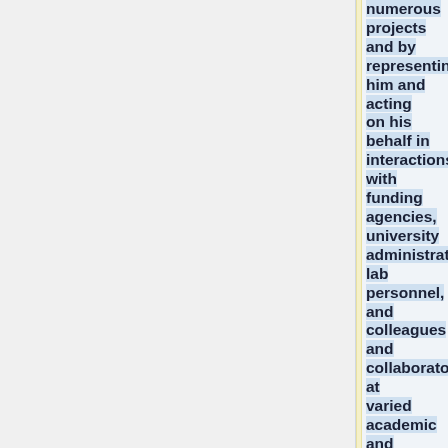numerous projects and by representing him and acting on his behalf in interactions with funding agencies, university administrators, lab personnel, and colleagues and collaborators at varied academic and medical organizations. Key responsibilities include assisting with preparation of